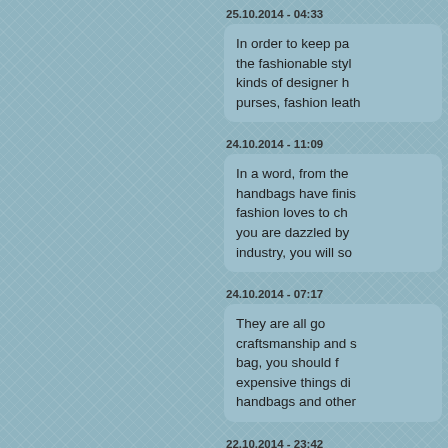25.10.2014 - 04:33
In order to keep pace with the fashionable style, kinds of designer handbags, purses, fashion leath...
24.10.2014 - 11:09
In a word, from the handbags have finished fashion loves to choose you are dazzled by industry, you will soo...
24.10.2014 - 07:17
They are all go... craftsmanship and s... bag, you should f... expensive things di... handbags and other...
22.10.2014 - 23:42